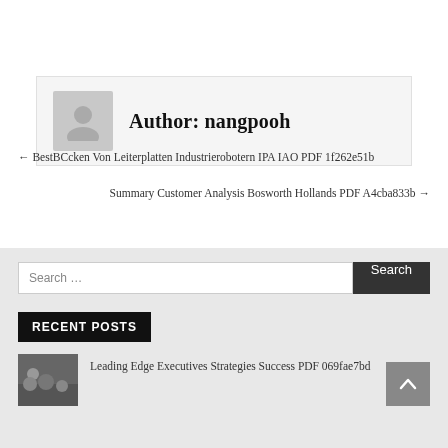Author: nangpooh
← BestBCcken Von Leiterplatten Industrierobotern IPA IAO PDF 1f262e51b
Summary Customer Analysis Bosworth Hollands PDF A4cba833b →
Search ...
RECENT POSTS
Leading Edge Executives Strategies Success PDF 069fae7bd